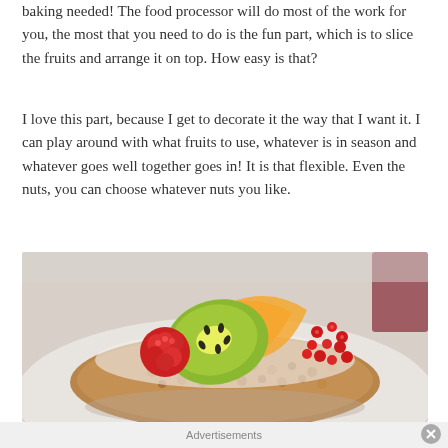baking needed! The food processor will do most of the work for you, the most that you need to do is the fun part, which is to slice the fruits and arrange it on top. How easy is that?
I love this part, because I get to decorate it the way that I want it. I can play around with what fruits to use, whatever is in season and whatever goes well together goes in! It is that flexible. Even the nuts, you can choose whatever nuts you like.
[Figure (photo): Close-up photo of a fruit tart topped with kiwi slices, orange slices, raspberries, and pomegranate seeds on a granola/nut base, served on a white plate.]
Advertisements